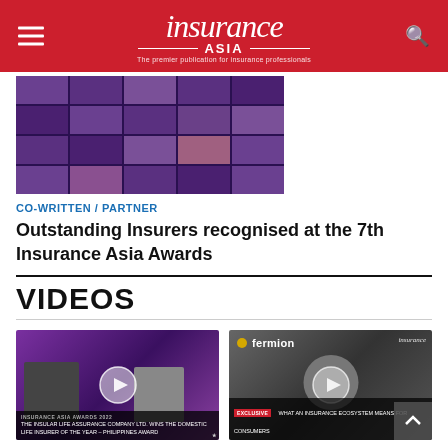Insurance Asia
[Figure (photo): Grid of video conference participants on purple background - Insurance Asia Awards]
CO-WRITTEN / PARTNER
Outstanding Insurers recognised at the 7th Insurance Asia Awards
VIDEOS
[Figure (screenshot): Video thumbnail: Insurance Asia Awards 2022 - The Insular Life Assurance Company Ltd. wins the Domestic Life Insurer of the Year - Philippines Award]
[Figure (screenshot): Video thumbnail: Fermion - Exclusive: What an Insurance Ecosystem Means for Consumers]
Insurance Asia Awards 2022 Winner: The Insular...
What an Insurance ecosystem means for...